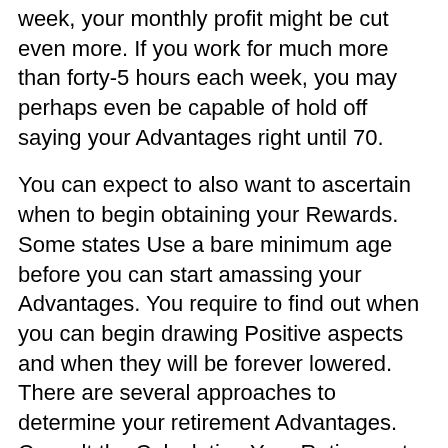week, your monthly profit might be cut even more. If you work for much more than forty-5 hours each week, you may perhaps even be capable of hold off saying your Advantages right until 70.
You can expect to also want to ascertain when to begin obtaining your Rewards. Some states Use a bare minimum age before you can start amassing your Advantages. You require to find out when you can begin drawing Positive aspects and when they will be forever lowered. There are several approaches to determine your retirement Advantages. Consult the Calculating Your Retirement Gains brochure for more information. When you've resolved how much You will need to retire at, the next action is figuring out exactly how much you are going to receive.(Everyday cash flow tax)
Buying Reduced-Cost Index